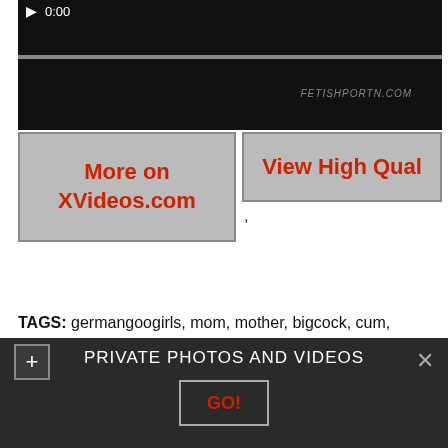[Figure (screenshot): Video player showing dark thumbnail with play button, timestamp 0:00, and a progress bar. Watermark text visible in lower right of video area.]
More on XVideos.com
View High Qual
TAGS: germangoogirls, mom, mother, bigcock, cum, cumshot, kink, bukkake, gangbang, blowjob, facial, cumshots, brunette, babe, german, deutsche
PRIVATE PHOTOS AND VIDEOS
GO!